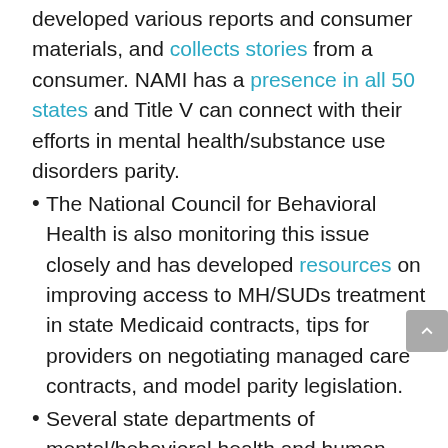developed various reports and consumer materials, and collects stories from a consumer. NAMI has a presence in all 50 states and Title V can connect with their efforts in mental health/substance use disorders parity.
The National Council for Behavioral Health is also monitoring this issue closely and has developed resources on improving access to MH/SUDs treatment in state Medicaid contracts, tips for providers on negotiating managed care contracts, and model parity legislation.
Several state departments of mental/behavioral health and human services are members of the National Council for Behavioral Health. Colleagues in your state may be members, which provides an opportunity for you to talk about the parity law and learn more about how your Title V program can help